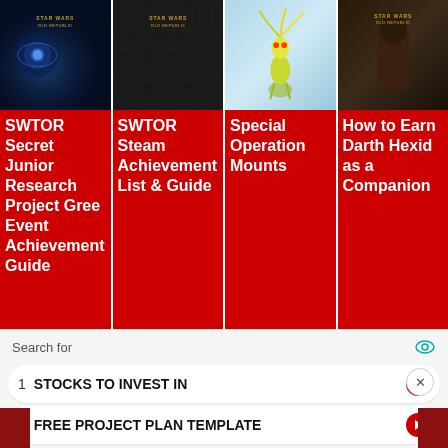[Figure (screenshot): SWTOR Secret Junior Research Project Gree Event Achievement Guide card with dark blue fantasy game image and red background]
SWTOR Secret Junior Research Project Gree Event Achievement Guide
[Figure (screenshot): SWTOR Steam Achievement List & Guide card with dark grid game image and red background]
SWTOR Steam Achievement List & Guide
[Figure (screenshot): Special Operation Mounts card with blue alien creature game image and red background]
Special Operation Mounts
[Figure (screenshot): How to Earn Darth Hexid as a Companion card with dark game image and red background]
How to Earn Darth Hexid as a Companion
Search for
1  STOCKS TO INVEST IN
2  FREE PROJECT PLAN TEMPLATE
Yahoo! Search | Sponsored